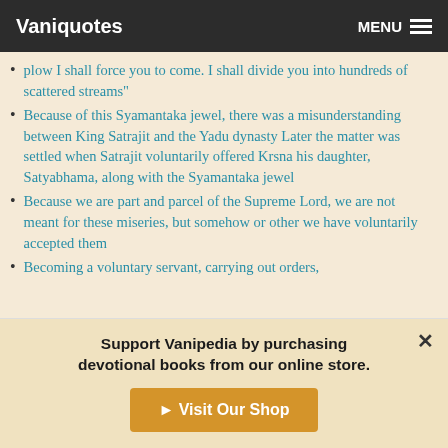Vaniquotes | MENU
plow I shall force you to come. I shall divide you into hundreds of scattered streams"
Because of this Syamantaka jewel, there was a misunderstanding between King Satrajit and the Yadu dynasty Later the matter was settled when Satrajit voluntarily offered Krsna his daughter, Satyabhama, along with the Syamantaka jewel
Because we are part and parcel of the Supreme Lord, we are not meant for these miseries, but somehow or other we have voluntarily accepted them
Becoming a voluntary servant, carrying out orders,
Support Vanipedia by purchasing devotional books from our online store.
► Visit Our Shop